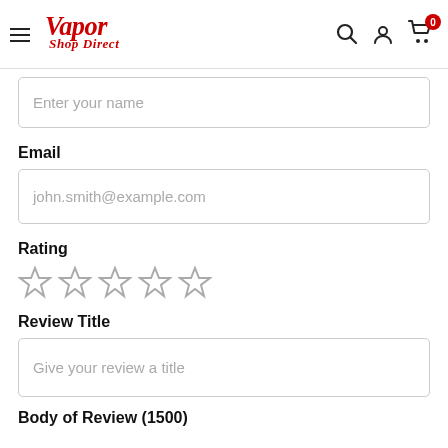[Figure (logo): Vapor Shop Direct logo in red script with hamburger menu icon on the left and search, user, cart icons on the right]
Enter your name
Email
john.smith@example.com
Rating
[Figure (other): Five empty/outlined grey star icons for rating]
Review Title
Give your review a title
Body of Review (1500)